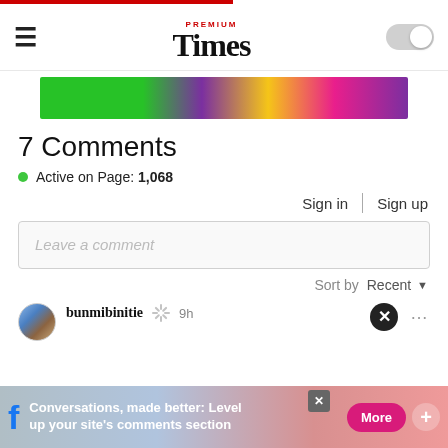Premium Times
[Figure (illustration): Colorful ad banner with green, purple, yellow and magenta colors]
7 Comments
Active on Page: 1,068
Sign in | Sign up
Leave a comment
Sort by Recent
bunmibinitie 9h
[Figure (infographic): Bottom Facebook promotional ad bar: Conversations, made better: Level up your site's comments section. More button.]